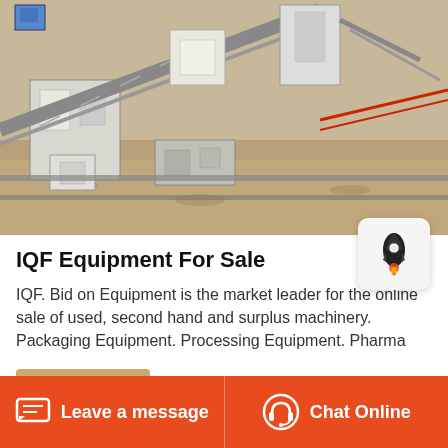[Figure (photo): Photograph of IQF/industrial processing machinery on a dirt/gravel work site, showing conveyor belts and mechanical equipment]
IQF Equipment For Sale
IQF. Bid on Equipment is the market leader for the online sale of used, second hand and surplus machinery. Packaging Equipment. Processing Equipment. Pharma
Get More
Leave a message   Chat Online